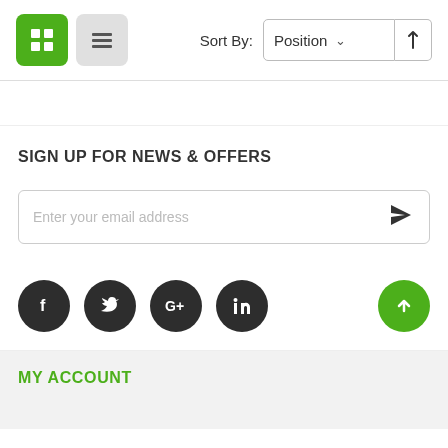[Figure (screenshot): Toolbar with grid view button (green), list view button (gray), sort by label and Position dropdown, and sort direction arrow button]
SIGN UP FOR NEWS & OFFERS
[Figure (screenshot): Email signup input bar with placeholder 'Enter your email address' and a send/paper-plane icon on the right]
[Figure (screenshot): Social media icons row: Facebook, Twitter, Google+, LinkedIn (dark circles), and a green scroll-to-top arrow button on the right]
MY ACCOUNT